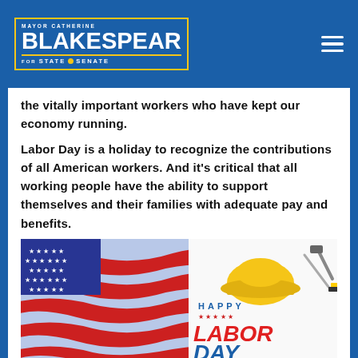Mayor Catherine Blakespear for State Senate
the vitally important workers who have kept our economy running.
Labor Day is a holiday to recognize the contributions of all American workers. And it's critical that all working people have the ability to support themselves and their families with adequate pay and benefits.
[Figure (photo): Happy Labor Day graphic featuring an American flag and text 'HAPPY LABOR DAY' with tools and construction imagery]